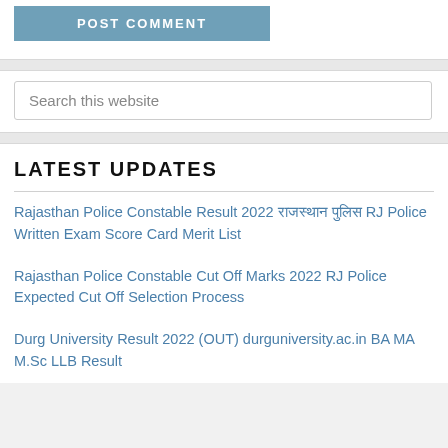POST COMMENT
Search this website
LATEST UPDATES
Rajasthan Police Constable Result 2022 राजस्थान पुलिस RJ Police Written Exam Score Card Merit List
Rajasthan Police Constable Cut Off Marks 2022 RJ Police Expected Cut Off Selection Process
Durg University Result 2022 (OUT) durguniversity.ac.in BA MA M.Sc LLB Result